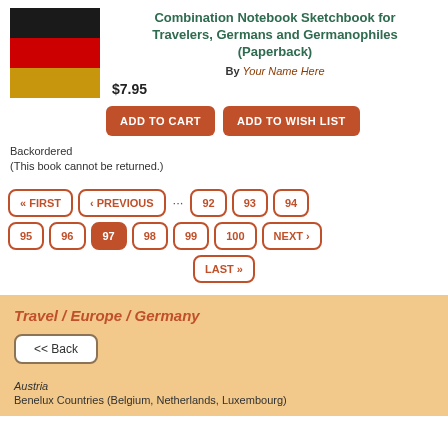[Figure (illustration): German flag (black, red, gold horizontal stripes)]
Combination Notebook Sketchbook for Travelers, Germans and Germanophiles (Paperback)
By Your Name Here
$7.95
ADD TO CART
ADD TO WISH LIST
Backordered
(This book cannot be returned.)
« FIRST  ‹ PREVIOUS  ...  92  93  94  95  96  97  98  99  100  NEXT ›  LAST »
Travel / Europe / Germany
<< Back
Austria
Benelux Countries (Belgium, Netherlands, Luxembourg)